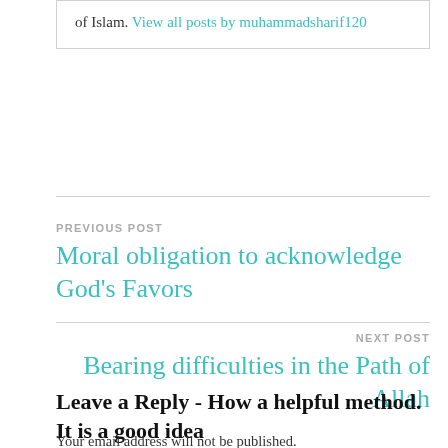of Islam. View all posts by muhammadsharif120
PREVIOUS POST
Moral obligation to acknowledge God's Favors
NEXT POST
Bearing difficulties in the Path of Allah
Leave a Reply - How a helpful method. It is a good idea
Your email address will not be published. Required fields are marked *